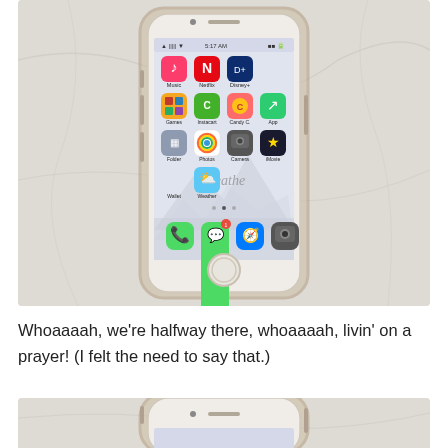[Figure (photo): iPhone in a transparent case showing the home screen with various app icons including Netflix, Disney+, Music, Camera, Safari, Messages, and others. The phone is resting on a white fabric/sheet background. The wallpaper shows the word 'breathe' in cursive script over a mountain/snow scene.]
Whoaaaah, we're halfway there, whoaaaah, livin' on a prayer! (I felt the need to say that.)
[Figure (photo): Partial view of a second iPhone in a transparent case, showing only the top portion of the device resting on white fabric.]